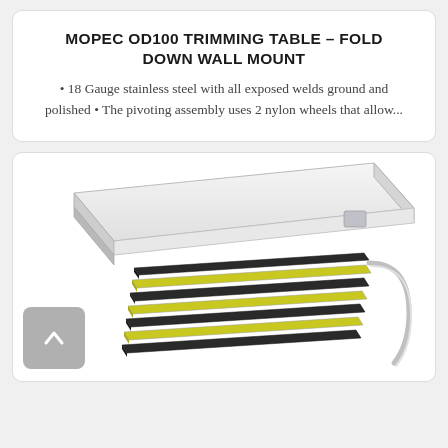MOPEC OD100 TRIMMING TABLE – FOLD DOWN WALL MOUNT
• 18 Gauge stainless steel with all exposed welds ground and polished • The pivoting assembly uses 2 nylon wheels that allow...
[Figure (photo): Product photo of the Mopec OD100 Trimming Table – Fold Down Wall Mount. The image shows a rectangular stainless steel table top with raised edges, mounted on a scissor/accordion-style mechanism with alternating yellow-green and black layered panels. A curved metal support arm is visible on the right side.]